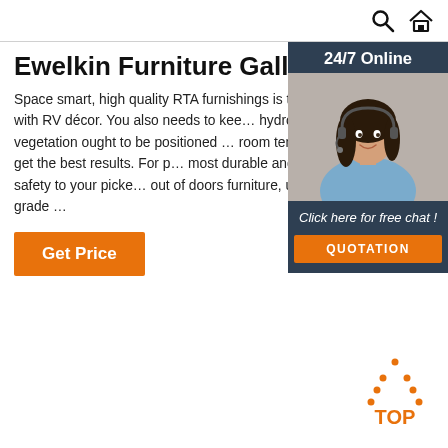Ewelkin Furniture Gallery
Space smart, high quality RTA furnishings is th… marriage with RV décor. You also needs to kee… hydroponic vegetation ought to be positioned … room temperature to get the best results. For p… most durable and effective safety to your picke… out of doors furniture, use only A-grade …
[Figure (screenshot): Orange 'Get Price' button]
[Figure (infographic): 24/7 Online chat widget with a woman wearing a headset, 'Click here for free chat!' text, and an orange QUOTATION button]
[Figure (logo): Orange dotted triangle with 'TOP' text below, serving as a back-to-top button]